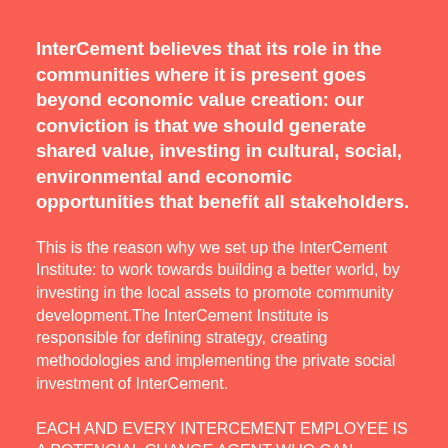InterCement believes that its role in the communities where it is present goes beyond economic value creation: our conviction is that we should generate shared value, investing in cultural, social, environmental and economic opportunities that benefit all stakeholders.
This is the reason why we set up the InterCement Institute: to work towards building a better world, by investing in the local assets to promote community development.The InterCement Institute is responsible for defining strategy, creating methodologies and implementing the private social investment of InterCement.
EACH AND EVERY INTERCEMENT EMPLOYEE IS A POTENCIAL CHANGE AGENT WHO CAN COUNT ON THE INSTITUTE TO ACT AS A CATALYST AND INCREASE